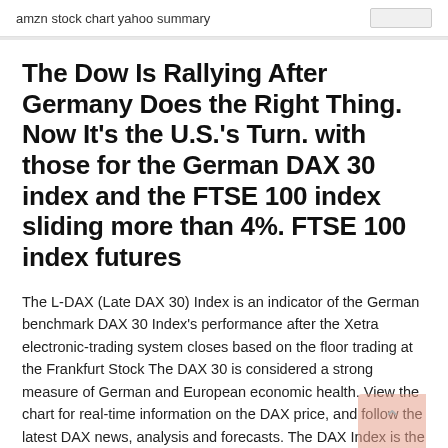amzn stock chart yahoo summary
The Dow Is Rallying After Germany Does the Right Thing. Now It's the U.S.'s Turn. with those for the German DAX 30 index and the FTSE 100 index sliding more than 4%. FTSE 100 index futures
The L-DAX (Late DAX 30) Index is an indicator of the German benchmark DAX 30 Index's performance after the Xetra electronic-trading system closes based on the floor trading at the Frankfurt Stock The DAX 30 is considered a strong measure of German and European economic health. View the chart for real-time information on the DAX price, and follow the latest DAX news, analysis and forecasts. The DAX Index is the